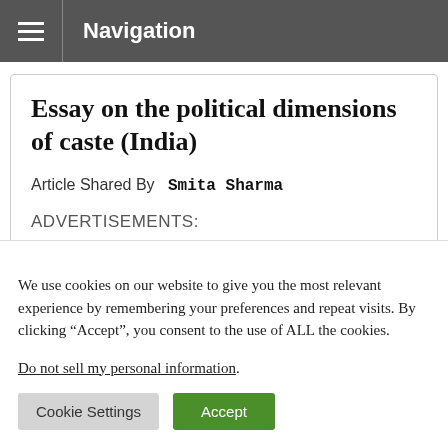Navigation
Essay on the political dimensions of caste (India)
Article Shared By  Smita Sharma
ADVERTISEMENTS:
We use cookies on our website to give you the most relevant experience by remembering your preferences and repeat visits. By clicking “Accept”, you consent to the use of ALL the cookies.
Do not sell my personal information.